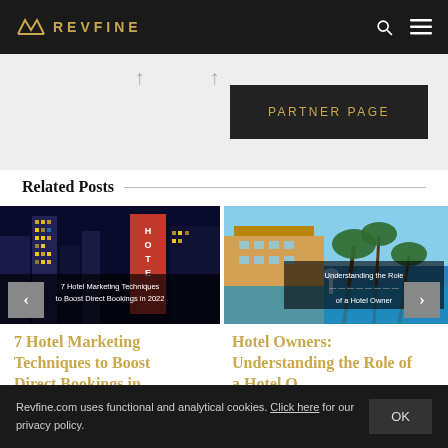REVFINE
[Figure (other): Dark button labeled PARTNER PAGE on a light gray background]
Related Posts
[Figure (photo): Night photo of a hotel building with illuminated HOTEL sign, with overlay text: 7 Hotel Marketing Techniques to Boost Direct Bookings in 2022]
[Figure (photo): Tropical resort with palm trees and pool, with overlay text: Understanding the Role of a Hotel Owner]
7 Hotel Marketing Techniques to Boost Direct Bookings in
Hotel Owners: Understanding the Role of a Hotel O
Revfine.com uses functional and analytical cookies. Click here for our privacy policy.